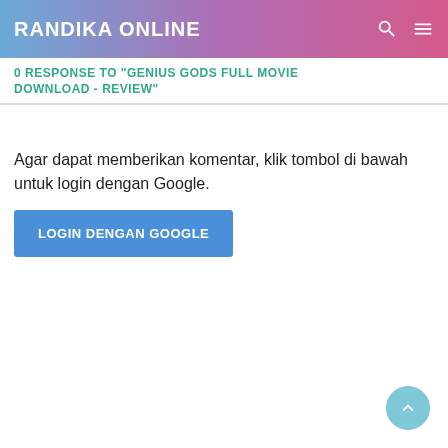RANDIKA ONLINE
0 RESPONSE TO "GENIUS GODS FULL MOVIE DOWNLOAD - REVIEW"
Agar dapat memberikan komentar, klik tombol di bawah untuk login dengan Google.
LOGIN DENGAN GOOGLE